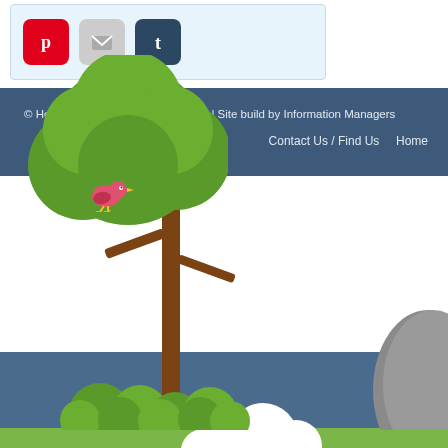[Figure (screenshot): Social media sharing icons: Pinterest (red), Email (grey), Tumblr (dark blue) in a light blue box]
© Holy Rosary Primary School 2022 | Site build by Information Managers
Contact Us / Find Us    Home
[Figure (illustration): Illustrated scene with blue textured sky, a cartoon tree with green foliage and brown trunk, a pink bird perched on a branch, white clouds, green bushes at base, green grass strip at bottom, and a grey hill on the right edge]